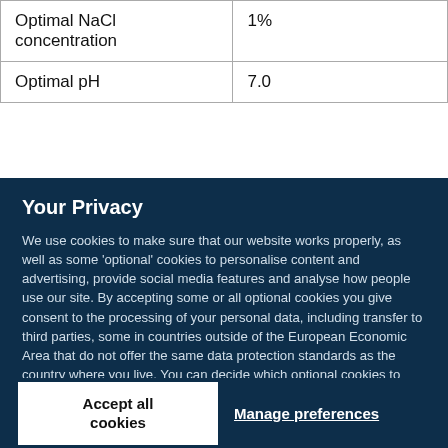| Optimal NaCl concentration | 1% |
| Optimal pH | 7.0 |
Your Privacy
We use cookies to make sure that our website works properly, as well as some 'optional' cookies to personalise content and advertising, provide social media features and analyse how people use our site. By accepting some or all optional cookies you give consent to the processing of your personal data, including transfer to third parties, some in countries outside of the European Economic Area that do not offer the same data protection standards as the country where you live. You can decide which optional cookies to accept by clicking on 'Manage Settings', where you can also find more information about how your personal data is processed. Further information can be found in our privacy policy.
Accept all cookies
Manage preferences